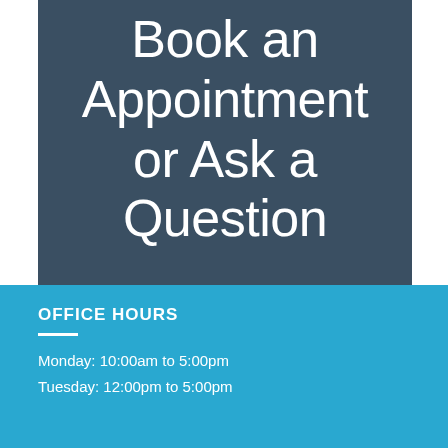Book an Appointment or Ask a Question
OFFICE HOURS
Monday: 10:00am to 5:00pm
Tuesday: 12:00pm to 5:00pm